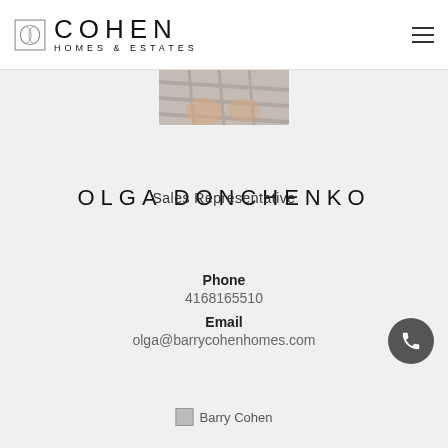COHEN HOMES & ESTATES
[Figure (photo): Partial photo of Olga Donchenko, showing torso in a plaid/checked blazer, framed at top of page]
OLGA DONCHENKO
Sales Representative
Phone
4168165510
Email
olga@barrycohenhomes.com
[Figure (logo): Barry Cohen — broken image placeholder with alt text 'Barry Cohen']